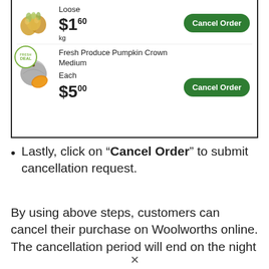[Figure (screenshot): Screenshot of a grocery order page showing two items: Onions Loose at $1.60/kg and Fresh Produce Pumpkin Crown Medium at $5.00 each, each with a green 'Cancel Order' button.]
Lastly, click on "Cancel Order" to submit cancellation request.
By using above steps, customers can cancel their purchase on Woolworths online. The cancellation period will end on the night